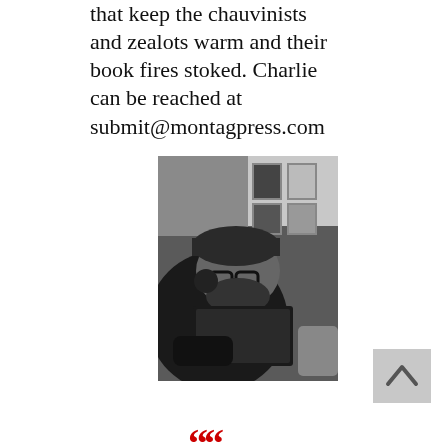that keep the chauvinists and zealots warm and their book fires stoked. Charlie can be reached at submit@montagpress.com
[Figure (photo): Black and white photo of a bearded man wearing a cap with glasses, lying back reading a book. Framed pictures visible on the wall in the background.]
[Figure (other): Gray back-to-top button with upward pointing chevron/caret arrow.]
““